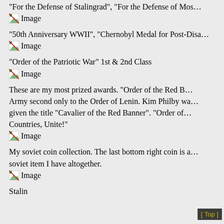"For the Defense of Stalingrad", "For the Defense of Mos…
[Figure (photo): Broken image placeholder labeled 'Image']
"50th Anniversary WWII", "Chernobyl Medal for Post-Disa…
[Figure (photo): Broken image placeholder labeled 'Image']
"Order of the Patriotic War" 1st & 2nd Class
[Figure (photo): Broken image placeholder labeled 'Image']
These are my most prized awards. "Order of the Red B… Army second only to the Order of Lenin. Kim Philby wa… given the title "Cavalier of the Red Banner". "Order of… Countries, Unite!"
[Figure (photo): Broken image placeholder labeled 'Image']
My soviet coin collection. The last bottom right coin is a… soviet item I have altogether.
[Figure (photo): Broken image placeholder labeled 'Image']
Stalin
[ Top ]